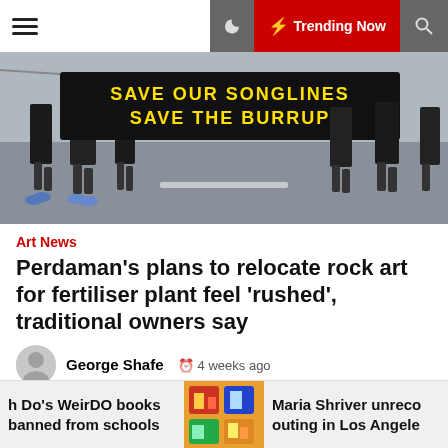Trending Now
[Figure (photo): Protesters walking and holding a large banner reading 'SAVE OUR SONGLINES SAVE THE BURRUP' on a road]
Art News
Perdaman’s plans to relocate rock art for fertiliser plant feel ‘rushed’, traditional owners say
George Shafe   4 weeks ago
Files observed by the ABC expose ongoing worries between conventional homeowners around a $4.5 billion fertiliser plant on Western Australia’s Burrup Peninsula regardless of the company saying the undertaking has the blessing of elders. Essential factors: Perdaman suggests it has finished considerable consultation with common entrepreneurs
h Do’s WeirDO books banned from schools
[Figure (photo): Colorful illustrated book cover thumbnail]
Maria Shriver unreco outing in Los Angele